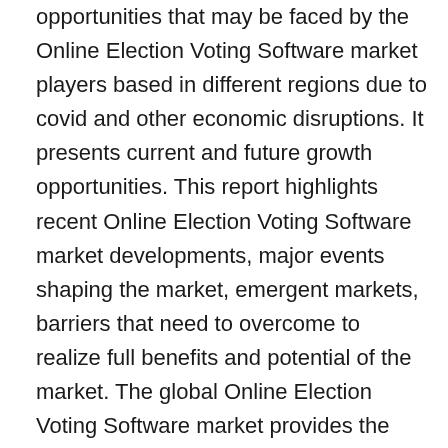opportunities that may be faced by the Online Election Voting Software market players based in different regions due to covid and other economic disruptions. It presents current and future growth opportunities. This report highlights recent Online Election Voting Software market developments, major events shaping the market, emergent markets, barriers that need to overcome to realize full benefits and potential of the market. The global Online Election Voting Software market provides the overview of the global Online Election Voting Software market along with highlighting the trends, demand, production, trade status, and price trends of the most in-demand product, services, technologies, and platforms in the Online Election Voting Software market.